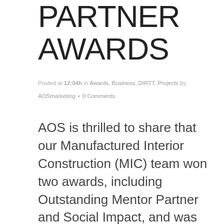PARTNER AWARDS
Posted at 12:04h in Awards, Business, DIRTT, Projects by AOSmarketing • 0 Comments
AOS is thrilled to share that our Manufactured Interior Construction (MIC) team won two awards, including Outstanding Mentor Partner and Social Impact, and was recognized as two finalists for Project Manager of the Year and Complete Solution Innovation during the 2021 DIRTT Partner